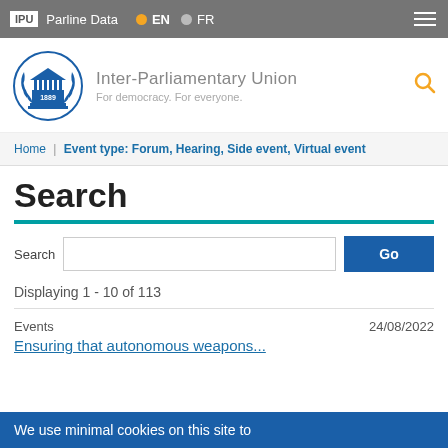IPU | Parline Data | EN | FR
[Figure (logo): Inter-Parliamentary Union logo: blue laurel wreath with a classical building and '1889' text inside, circular design]
Inter-Parliamentary Union
For democracy. For everyone.
Home | Event type: Forum, Hearing, Side event, Virtual event
Search
Search  [input field]  Go
Displaying 1 - 10 of 113
Events   24/08/2022
Ensuring that autonomous weapons
We use minimal cookies on this site to